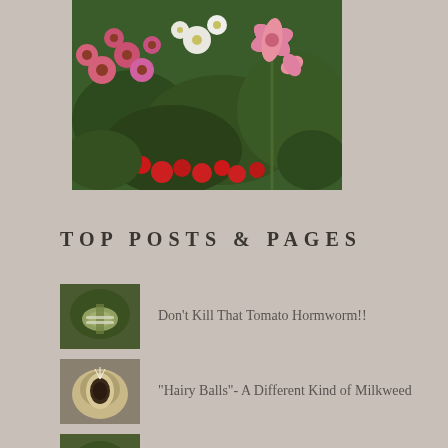[Figure (photo): Garden photo showing pink echinacea, white flowers, stargazer lilies, and red flowers in a lush garden bed]
TOP POSTS & PAGES
Don't Kill That Tomato Hormworm!!
"Hairy Balls"- A Different Kind of Milkweed
When Not to Kill a Hornworm
Stars of the Garden - David Austin Roses